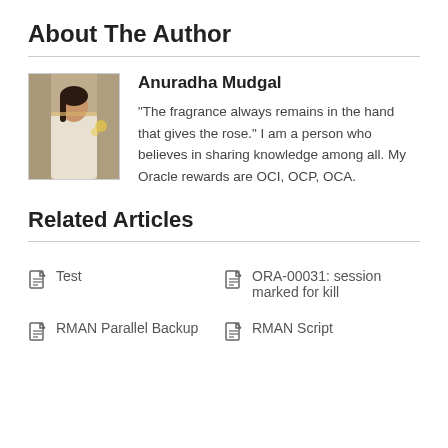About The Author
[Figure (photo): Photo of Anuradha Mudgal - a woman in a light-colored sari standing indoors]
Anuradha Mudgal
"The fragrance always remains in the hand that gives the rose." I am a person who believes in sharing knowledge among all. My Oracle rewards are OCI, OCP, OCA.
Related Articles
Test
ORA-00031: session marked for kill
RMAN Parallel Backup
RMAN Script